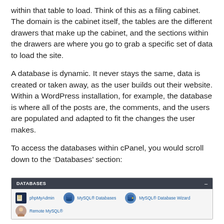within that table to load. Think of this as a filing cabinet. The domain is the cabinet itself, the tables are the different drawers that make up the cabinet, and the sections within the drawers are where you go to grab a specific set of data to load the site.
A database is dynamic. It never stays the same, data is created or taken away, as the user builds out their website. Within a WordPress installation, for example, the database is where all of the posts are, the comments, and the users are populated and adapted to fit the changes the user makes.
To access the databases within cPanel, you would scroll down to the ‘Databases’ section:
[Figure (screenshot): Screenshot of cPanel Databases section showing a dark header bar labeled DATABASES with a dash icon, and below it icons and links for phpMyAdmin, MySQL® Databases, MySQL® Database Wizard, and Remote MySQL®.]